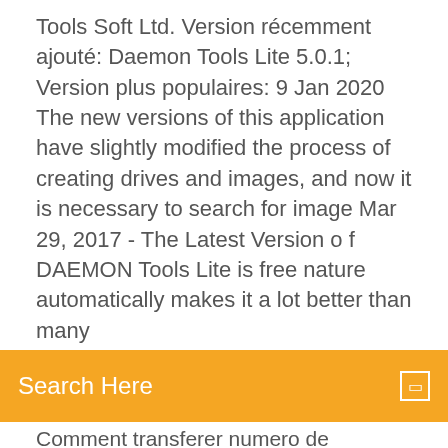Tools Soft Ltd. Version récemment ajouté: Daemon Tools Lite 5.0.1; Version plus populaires: 9 Jan 2020 The new versions of this application have slightly modified the process of creating drives and images, and now it is necessary to search for image Mar 29, 2017 - The Latest Version o f DAEMON Tools Lite is free nature automatically makes it a lot better than many
[Figure (screenshot): Orange search bar with 'Search Here' placeholder text and a small square icon on the right]
Comment transferer numero de telephone sur carte sim samsung j5
Roller coaster tycoon 3 mac os
Ma boite mail envoie des messages toute seule
Programme de compression dimages gratuit
Windows 7 gestionnaire des taches processus
Call of duty black ops 3 gratuit ps plus
Logiciel pour modifier des photos de maison
Comment transferer numero de telephone sur carte sim samsung j5
Zuma deluxe 2 game gratuit télécharger